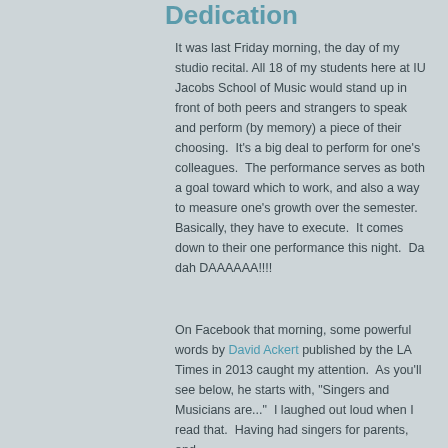Dedication
It was last Friday morning, the day of my studio recital. All 18 of my students here at IU Jacobs School of Music would stand up in front of both peers and strangers to speak and perform (by memory) a piece of their choosing.  It's a big deal to perform for one's colleagues.  The performance serves as both a goal toward which to work, and also a way to measure one's growth over the semester. Basically, they have to execute.  It comes down to their one performance this night.  Da dah DAAAAAA!!!!
On Facebook that morning, some powerful words by David Ackert published by the LA Times in 2013 caught my attention.  As you'll see below, he starts with, "Singers and Musicians are..."  I laughed out loud when I read that.  Having had singers for parents, and